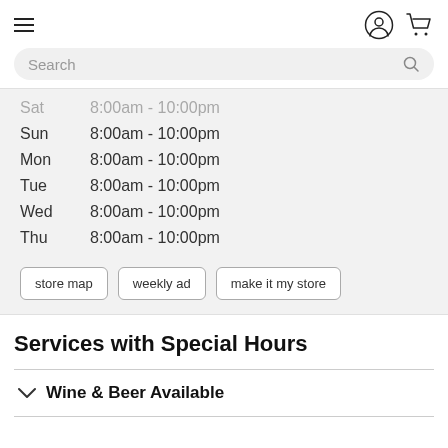Navigation bar with hamburger menu, user icon, and cart icon
Search
| Day | Hours |
| --- | --- |
| Sat | 8:00am - 10:00pm |
| Sun | 8:00am - 10:00pm |
| Mon | 8:00am - 10:00pm |
| Tue | 8:00am - 10:00pm |
| Wed | 8:00am - 10:00pm |
| Thu | 8:00am - 10:00pm |
store map
weekly ad
make it my store
Services with Special Hours
Wine & Beer Available